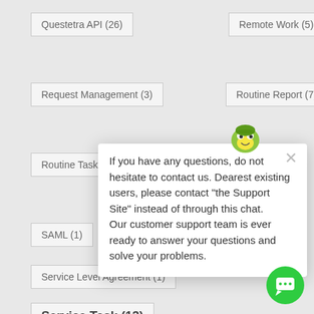Questetra API (26)
Remote Work (5)
Request Management (3)
Routine Report (7)
Routine Tasks (5)
SAML (1)
Script Task
Service Level Agreement (1)
Service Task (13)
Single Sign-On (2)
STARTTLS (1)
Sticker
Talent Acquisition (2)
Task Request (2)
Team Swimlane (1)
Timer (6)
Twilio (2)
If you have any questions, do not hesitate to contact us. Dearest existing users, please contact "the Support Site" instead of through this chat. Our customer support team is ever ready to answer your questions and solve your problems.